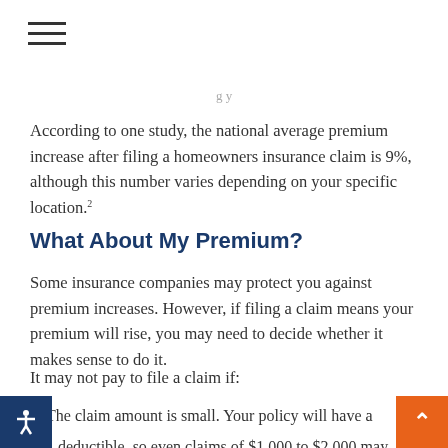According to one study, the national average premium increase after filing a homeowners insurance claim is 9%, although this number varies depending on your specific location.²
What About My Premium?
Some insurance companies may protect you against premium increases. However, if filing a claim means your premium will rise, you may need to decide whether it makes sense to do it.
It may not pay to file a claim if:
The claim amount is small. Your policy will have a deductible, so even claims of $1,000 to $2,000 may not have a favorable long-term cost benefit.
You're not covered for a loss. Read your policy first to determine coverage. The simple act of filing a claim (even